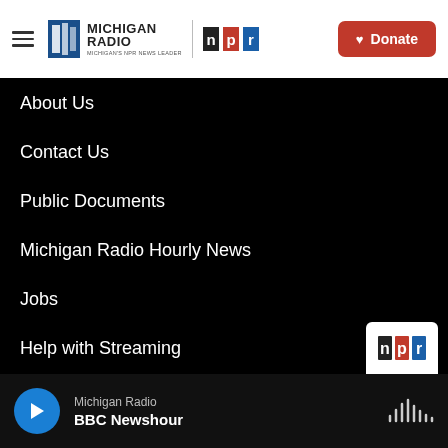[Figure (logo): Michigan Radio | NPR logo with hamburger menu and red Donate button in white header bar]
About Us
Contact Us
Public Documents
Michigan Radio Hourly News
Jobs
Help with Streaming
Contest Rules
Events
[Figure (logo): NPR logo partially visible in bottom-right corner]
Michigan Radio BBC Newshour — player bar with play button and waveform icon